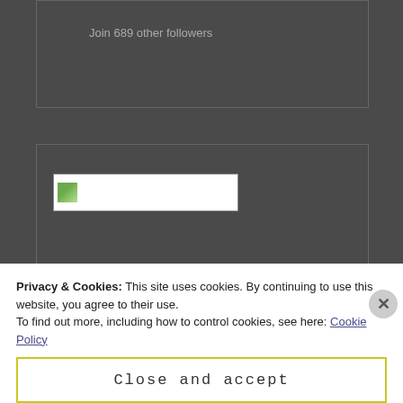Join 689 other followers
[Figure (screenshot): Image placeholder widget with small green landscape thumbnail icon and empty image bar]
SEEKING PROFITS
Privacy & Cookies: This site uses cookies. By continuing to use this website, you agree to their use.
To find out more, including how to control cookies, see here: Cookie Policy
Close and accept